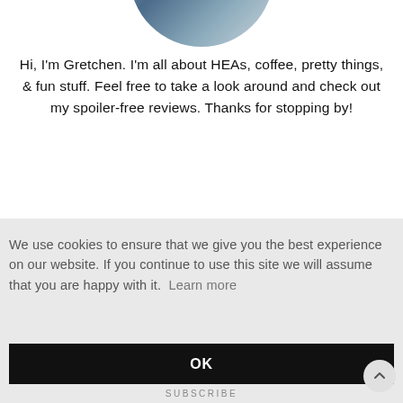[Figure (photo): Circular profile photo of a person, partially cropped at the top of the page]
Hi, I'm Gretchen. I'm all about HEAs, coffee, pretty things, & fun stuff. Feel free to take a look around and check out my spoiler-free reviews. Thanks for stopping by!
We use cookies to ensure that we give you the best experience on our website. If you continue to use this site we will assume that you are happy with it. Learn more
OK
SUBSCRIBE